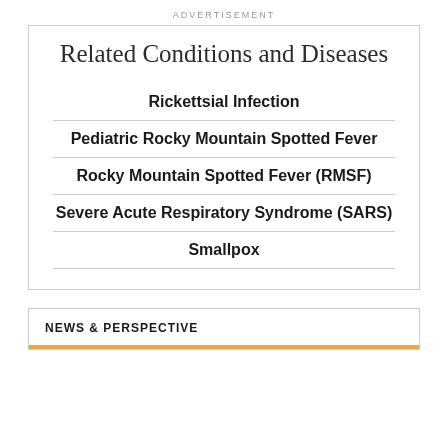ADVERTISEMENT
Related Conditions and Diseases
Rickettsial Infection
Pediatric Rocky Mountain Spotted Fever
Rocky Mountain Spotted Fever (RMSF)
Severe Acute Respiratory Syndrome (SARS)
Smallpox
NEWS & PERSPECTIVE